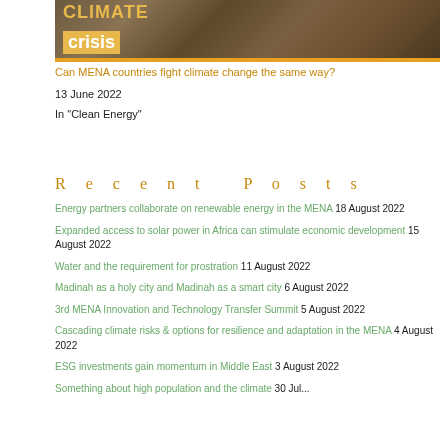[Figure (photo): Cracked dry earth background with text overlay reading 'CLIMATE crisis' in bold lettering with a gold/orange bar beneath]
Can MENA countries fight climate change the same way?
13 June 2022
In "Clean Energy"
Recent Posts
Energy partners collaborate on renewable energy in the MENA 18 August 2022
Expanded access to solar power in Africa can stimulate economic development 15 August 2022
Water and the requirement for prostration 11 August 2022
Madinah as a holy city and Madinah as a smart city 6 August 2022
3rd MENA Innovation and Technology Transfer Summit 5 August 2022
Cascading climate risks & options for resilience and adaptation in the MENA 4 August 2022
ESG investments gain momentum in Middle East 3 August 2022
Something about high population and the climate 30 July...